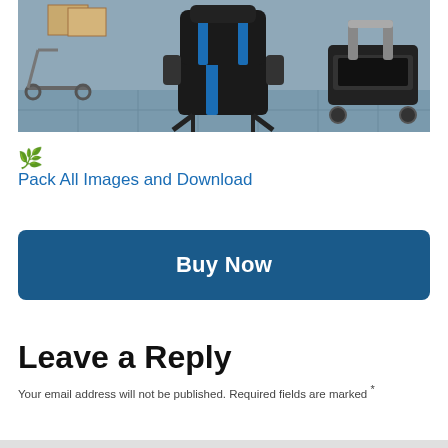[Figure (photo): Product lifestyle photo showing a black and blue gaming chair in the center, a scooter on the left, and a treadmill on the right, on a tiled floor background.]
🌿 Pack All Images and Download
Buy Now
Leave a Reply
Your email address will not be published. Required fields are marked *